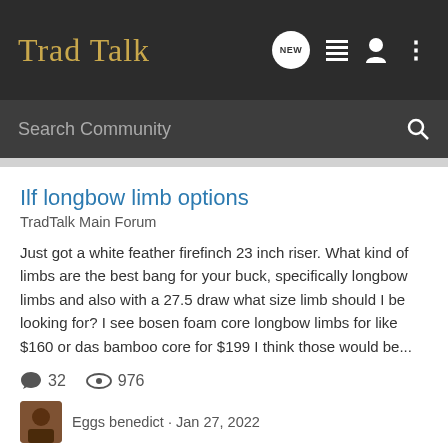Trad Talk
Search Community
Ilf longbow limb options
TradTalk Main Forum
Just got a white feather firefinch 23 inch riser. What kind of limbs are the best bang for your buck, specifically longbow limbs and also with a 27.5 draw what size limb should I be looking for? I see bosen foam core longbow limbs for like $160 or das bamboo core for $199 I think those would be...
32   976
Eggs benedict · Jan 27, 2022
ilf
longbow
newbie
Making the Switch to Oldbow...